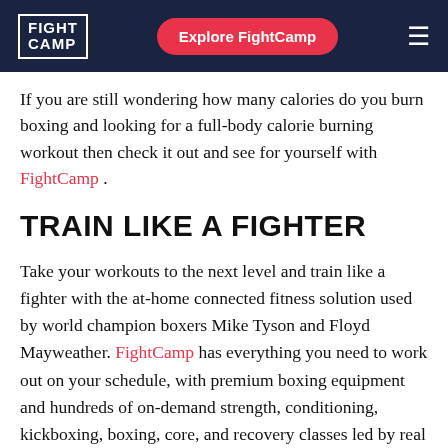FIGHT CAMP | Explore FightCamp
If you are still wondering how many calories do you burn boxing and looking for a full-body calorie burning workout then check it out and see for yourself with FightCamp .
TRAIN LIKE A FIGHTER
Take your workouts to the next level and train like a fighter with the at-home connected fitness solution used by world champion boxers Mike Tyson and Floyd Mayweather. FightCamp has everything you need to work out on your schedule, with premium boxing equipment and hundreds of on-demand strength, conditioning, kickboxing, boxing, core, and recovery classes led by real fighters. As Mike Tyson said -